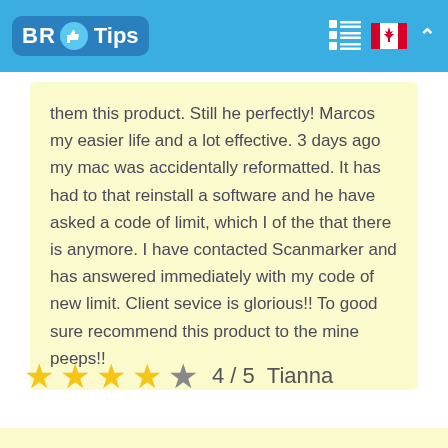BR Tips
them this product. Still he perfectly! Marcos my easier life and a lot effective. 3 days ago my mac was accidentally reformatted. It has had to that reinstall a software and he have asked a code of limit, which I of the that there is anymore. I have contacted Scanmarker and has answered immediately with my code of new limit. Client sevice is glorious!! To good sure recommend this product to the mine peeps!!
4 / 5  Tianna